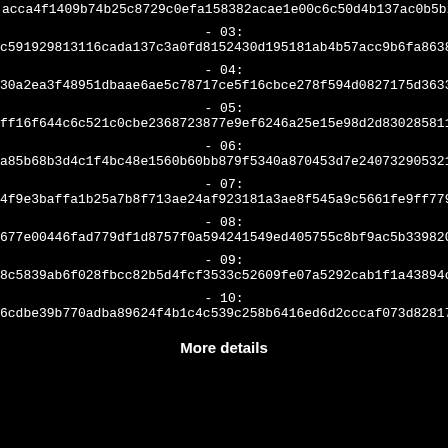acca4f1409b74b25c8729c0efa158382acae1e00c6c50d4b137ac0b5b2a2
- 03:
c591929813116cada137c3a0fd8152430d195181ab4b57acc9b6fa8638bb
- 04:
30a2ea3f48951dbaae6ae5c78717ce5f16cbce278f594d0827175d3633b8
- 05:
ff16f644c6c521c0cbe2368723877e9ef6246a25e15e98d2d830285811f7
- 06:
a85b68b3d4c1f4bc48e1560b60bb879f5340a870453d7e240732905321e3
- 07:
4f9e3baffa1b25a7b8f713ae24af923181a3ae8f545a9c5661fe9ff77972
- 08:
677e00446fad779df1d8757f0a594241549ed405755c8bf9ac5b339820f6
- 09:
8c5839ab6f028fbcc82b5d4fcf3533c52609fe07a5292cab1f1a43894cff
- 10:
6cdbe39b770adba89624f4b1c4c539c258b6416ed6d2cccaf073d82817f1
More details